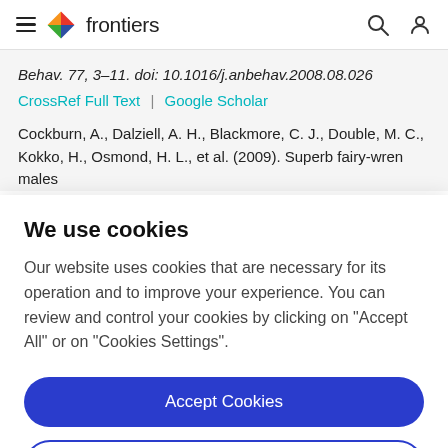frontiers
Behav. 77, 3–11. doi: 10.1016/j.anbehav.2008.08.026
CrossRef Full Text | Google Scholar
Cockburn, A., Dalziell, A. H., Blackmore, C. J., Double, M. C., Kokko, H., Osmond, H. L., et al. (2009). Superb fairy-wren males
We use cookies
Our website uses cookies that are necessary for its operation and to improve your experience. You can review and control your cookies by clicking on "Accept All" or on "Cookies Settings".
Accept Cookies
Cookies Settings